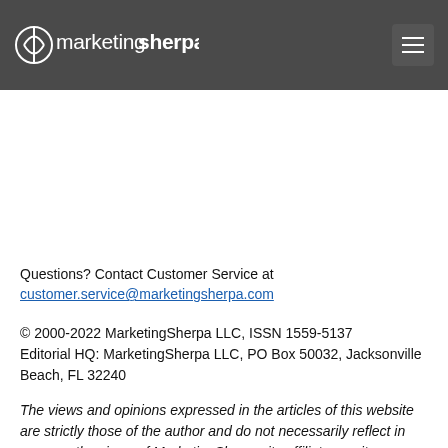marketingsherpa logo and menu button
Questions? Contact Customer Service at customer.service@marketingsherpa.com
© 2000-2022 MarketingSherpa LLC, ISSN 1559-5137
Editorial HQ: MarketingSherpa LLC, PO Box 50032, Jacksonville Beach, FL 32240
The views and opinions expressed in the articles of this website are strictly those of the author and do not necessarily reflect in any way the views of MarketingSherpa, its affiliates, or its employees.